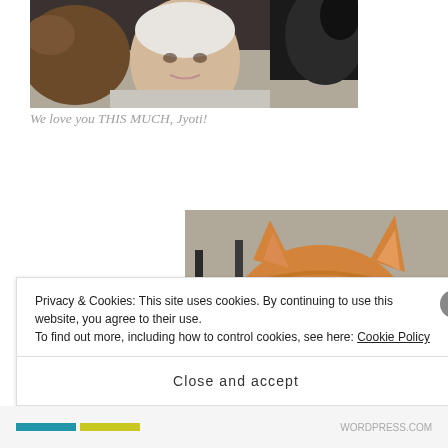[Figure (photo): A woman with short white/grey hair smiling, closely surrounded by two dogs (one light brown, one black and white), appearing to be a selfie-style photo taken indoors.]
We love you THIS MUCH, Jyoti!
[Figure (photo): Close-up photo of an orange tabby cat looking up at the camera with one eye partially closed/injured, taken outdoors on a concrete surface with a dark chair visible in the background.]
Privacy & Cookies: This site uses cookies. By continuing to use this website, you agree to their use.
To find out more, including how to control cookies, see here: Cookie Policy
Close and accept